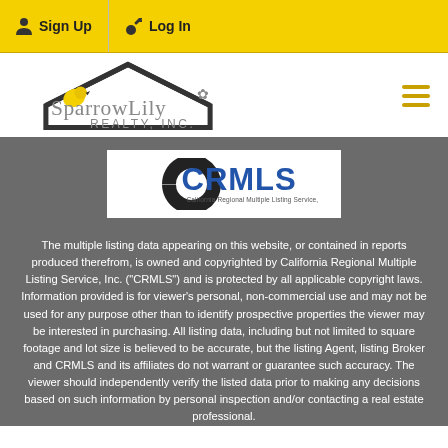Sign Up  Log In
[Figure (logo): SparrowLily Realty, Inc. logo with yellow bird and house outline]
[Figure (logo): CRMLS - California Regional Multiple Listing Service, Inc. logo]
The multiple listing data appearing on this website, or contained in reports produced therefrom, is owned and copyrighted by California Regional Multiple Listing Service, Inc. ("CRMLS") and is protected by all applicable copyright laws. Information provided is for viewer's personal, non-commercial use and may not be used for any purpose other than to identify prospective properties the viewer may be interested in purchasing. All listing data, including but not limited to square footage and lot size is believed to be accurate, but the listing Agent, listing Broker and CRMLS and its affiliates do not warrant or guarantee such accuracy. The viewer should independently verify the listed data prior to making any decisions based on such information by personal inspection and/or contacting a real estate professional.